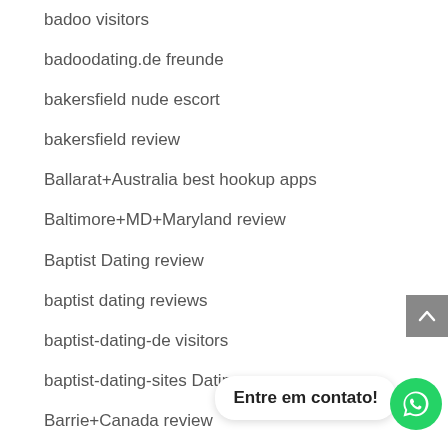badoo visitors
badoodating.de freunde
bakersfield nude escort
bakersfield review
Ballarat+Australia best hookup apps
Baltimore+MD+Maryland review
Baptist Dating review
baptist dating reviews
baptist-dating-de visitors
baptist-dating-sites Dating
Barrie+Canada review
bart-dating vis…
Baton Rouge+LA+Louisiana best hookup